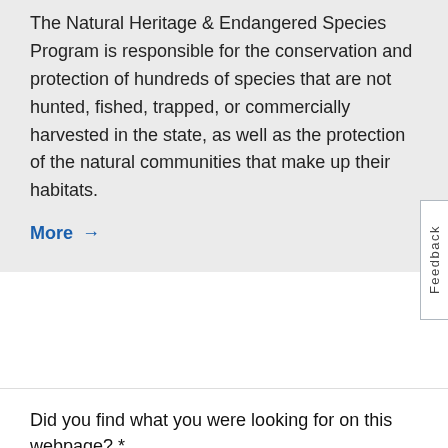The Natural Heritage & Endangered Species Program is responsible for the conservation and protection of hundreds of species that are not hunted, fished, trapped, or commercially harvested in the state, as well as the protection of the natural communities that make up their habitats.
More →
Did you find what you were looking for on this webpage? *
Yes
No